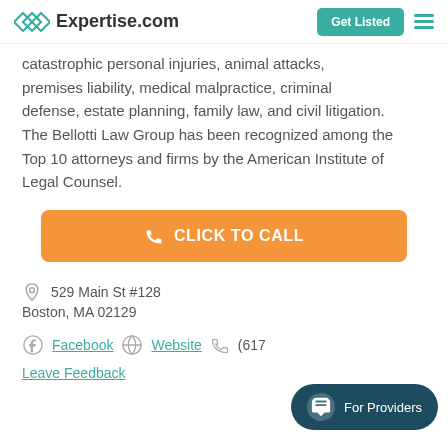Expertise.com | Get Listed
catastrophic personal injuries, animal attacks, premises liability, medical malpractice, criminal defense, estate planning, family law, and civil litigation. The Bellotti Law Group has been recognized among the Top 10 attorneys and firms by the American Institute of Legal Counsel.
CLICK TO CALL
529 Main St #128
Boston, MA 02129
Facebook | Website | (617... | Leave Feedback